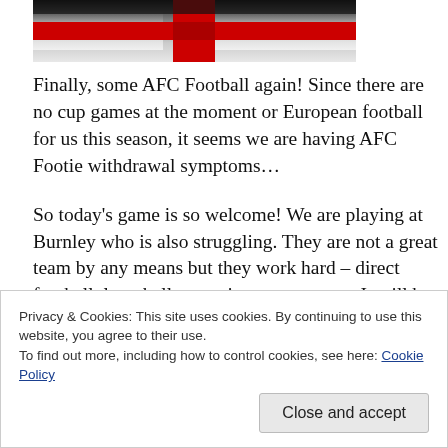[Figure (photo): England flag (St George's Cross) partially visible — white background with red cross, slightly blurred/waving]
Finally, some AFC Football again! Since there are no cup games at the moment or European football for us this season, it seems we are having AFC Footie withdrawal symptoms…
So today's game is so welcome! We are playing at Burnley who is also struggling. They are not a great team by any means but they work hard – direct football, long balls, set-pieces pressure… It will be important to be present in the
Privacy & Cookies: This site uses cookies. By continuing to use this website, you agree to their use.
To find out more, including how to control cookies, see here: Cookie Policy
Close and accept